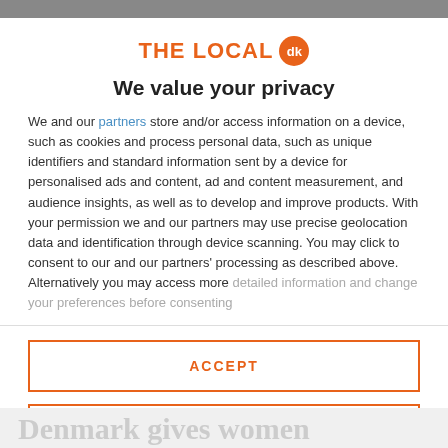[Figure (logo): THE LOCAL dk logo with orange text and orange circular badge with 'dk']
We value your privacy
We and our partners store and/or access information on a device, such as cookies and process personal data, such as unique identifiers and standard information sent by a device for personalised ads and content, ad and content measurement, and audience insights, as well as to develop and improve products. With your permission we and our partners may use precise geolocation data and identification through device scanning. You may click to consent to our and our partners' processing as described above. Alternatively you may access more detailed information and change your preferences before consenting
ACCEPT
MORE OPTIONS
Denmark gives women